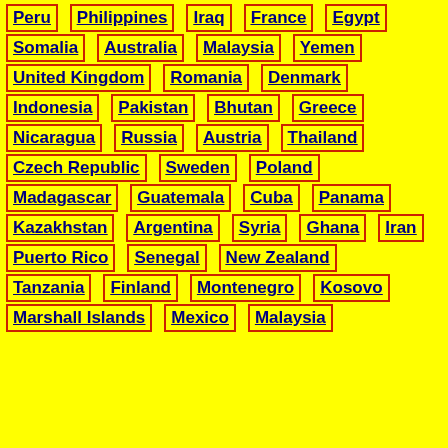Peru
Philippines
Iraq
France
Egypt
Somalia
Australia
Malaysia
Yemen
United Kingdom
Romania
Denmark
Indonesia
Pakistan
Bhutan
Greece
Nicaragua
Russia
Austria
Thailand
Czech Republic
Sweden
Poland
Madagascar
Guatemala
Cuba
Panama
Kazakhstan
Argentina
Syria
Ghana
Iran
Puerto Rico
Senegal
New Zealand
Tanzania
Finland
Montenegro
Kosovo
Marshall Islands
Mexico
Malaysia